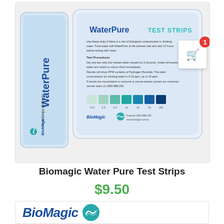[Figure (photo): Product photo of WaterPure Test Strips (5 Pack) by BioMagic. Shows a cylindrical tube packaging labeled WaterPure and a flat blister pack with colour chart, test instructions, and BioMagic branding. A red badge showing '1' appears near a shopping cart icon overlay in the upper right.]
Biomagic Water Pure Test Strips
$9.50
[Figure (logo): BioMagic logo with stylized wave icon in teal/green]